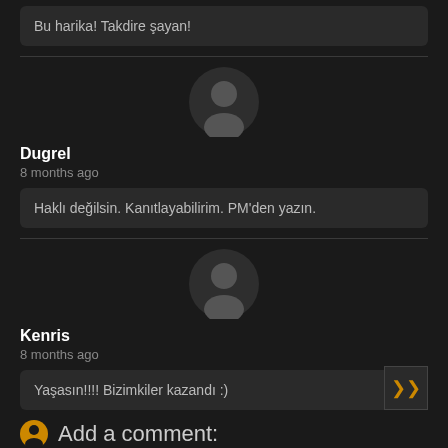Bu harika! Takdire şayan!
Dugrel
8 months ago
Haklı değilsin. Kanıtlayabilirim. PM'den yazın.
Kenris
8 months ago
Yaşasın!!!! Bizimkiler kazandı :)
Add a comment: